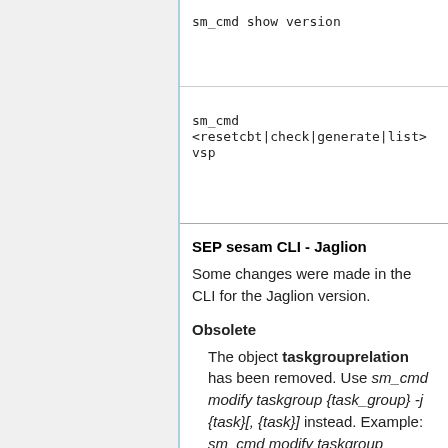| sm_cmd show version |
| sm_cmd <resetcbt|check|generate|list> vsp... |
SEP sesam CLI - Jaglion
Some changes were made in the CLI for the Jaglion version.
Obsolete
The object taskgrouprelation has been removed. Use sm_cmd modify taskgroup {task_group} -j {task}[, {task}] instead. Example: sm_cmd modify taskgroup taskgroup1 -j task1,task2